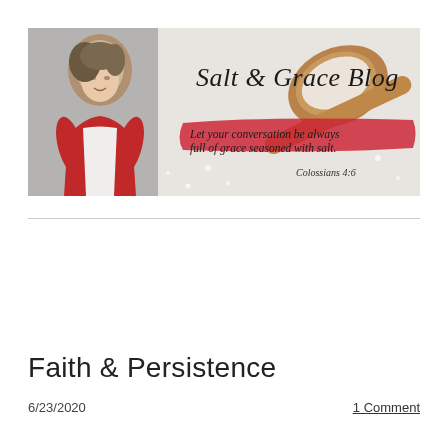[Figure (illustration): Salt & Grace Blog banner image. Left side shows a woman in a red top with dark blonde hair. Center-right shows a wooden spoon with salt crystals on a blurred salt background. Script text reads 'Salt & Grace Blog'. Below in italic serif: 'Let your conversation be always full of grace seasoned with salt.' Colossians 4:6. Red brush stroke accent behind the quote text.]
Faith & Persistence
6/23/2020
1 Comment